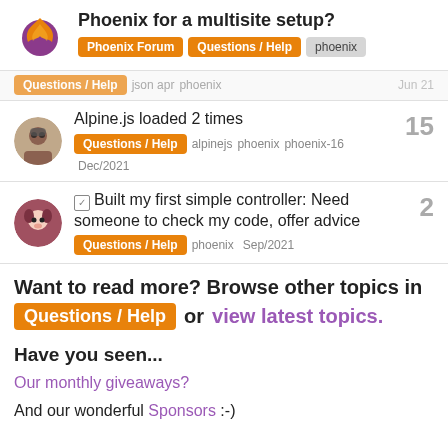Phoenix for a multisite setup? | Phoenix Forum | Questions / Help | phoenix
Questions/Help  json apr  phoenix  Jun 21
Alpine.js loaded 2 times  15  Questions / Help  alpinejs  phoenix  phoenix-16  Dec/2021
☑ Built my first simple controller: Need someone to check my code, offer advice  2  Questions / Help  phoenix  Sep/2021
Want to read more? Browse other topics in Questions / Help or view latest topics.
Have you seen...
Our monthly giveaways?
And our wonderful Sponsors :-)